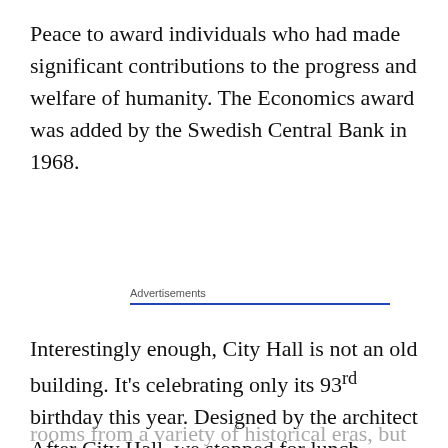Peace to award individuals who had made significant contributions to the progress and welfare of humanity. The Economics award was added by the Swedish Central Bank in 1968.
Advertisements
Interestingly enough, City Hall is not an old building. It's celebrating only its 93rd birthday this year. Designed by the architect After City Hall, we stopped for lunch before
Privacy & Cookies: This site uses cookies. By continuing to use this website, you agree to their use.
To find out more, including how to control cookies, see here: Cookie Policy
Close and accept
rooms from a variety of historical eras, but also made